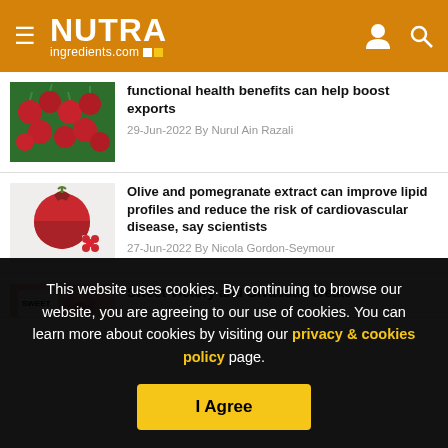NUTRAingredients.com
functional health benefits can help boost exports
29-Jun-2022 By Nurul Ain Razali
Olive and pomegranate extract can improve lipid profiles and reduce the risk of cardiovascular disease, say scientists
27-Jun-2022 By Nicola Gordon-Seymour
Sweet Victory and Givaudan create
This website uses cookies. By continuing to browse our website, you are agreeing to our use of cookies. You can learn more about cookies by visiting our privacy & cookies policy page.